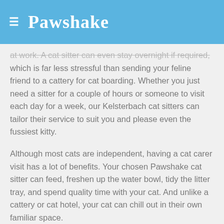≡  Pawshake
at work. A cat sitter can even stay overnight if required, which is far less stressful than sending your feline friend to a cattery for cat boarding. Whether you just need a sitter for a couple of hours or someone to visit each day for a week, our Kelsterbach cat sitters can tailor their service to suit you and please even the fussiest kitty.
Although most cats are independent, having a cat carer visit has a lot of benefits. Your chosen Pawshake cat sitter can feed, freshen up the water bowl, tidy the litter tray, and spend quality time with your cat. And unlike a cattery or cat hotel, your cat can chill out in their own familiar space.
Finally, every booking with Pawshake is with a verified carer and includes the Pawshake Guarantee and veterinary coverage, so you have nothing to worry about when it comes to your feline companion!